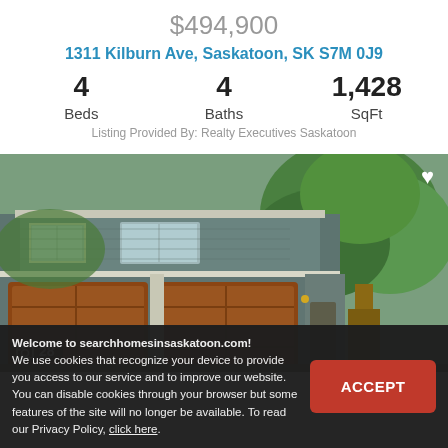$494,900
1311 Kilburn Ave, Saskatoon, SK S7M 0J9
4 Beds  4 Baths  1,428 SqFt
Listing Provided By: Realty Executives Saskatoon
[Figure (photo): Exterior photo of a two-story house with dark grey/blue siding, two brown garage doors, white window trim, and a large tree in front. A heart icon in the top right and a photo count indicator showing 28 in the bottom left.]
Welcome to searchhomesinsaskatoon.com!
We use cookies that recognize your device to provide you access to our service and to improve our website. You can disable cookies through your browser but some features of the site will no longer be available. To read our Privacy Policy, click here.